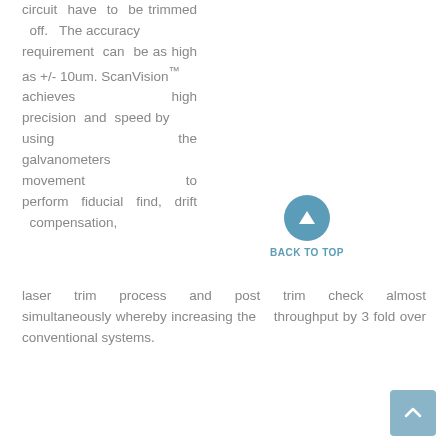circuit have to be trimmed off. The accuracy requirement can be as high as +/- 10um. ScanVision™ achieves high precision and speed by using the galvanometers movement to perform fiducial find, drift compensation, laser trim process and post trim check almost simultaneously whereby increasing the throughput by 3 fold over conventional systems.
[Figure (other): Back to top button — a teal circle with an upward-pointing triangle arrow, labeled BACK TO TOP]
[Figure (other): Scroll to top button — a light blue rounded rectangle with an upward-pointing caret arrow]